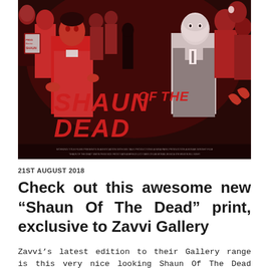[Figure (illustration): Movie poster artwork for 'Shaun of the Dead' featuring stylized illustrated characters in red and dark tones with large bold red title text reading 'SHAUN OF THE DEAD' in the center, surrounded by zombie and human figures]
21ST AUGUST 2018
Check out this awesome new “Shaun Of The Dead” print, exclusive to Zavvi Gallery
Zavvi’s latest edition to their Gallery range is this very nice looking Shaun Of The Dead print. “Who Died and